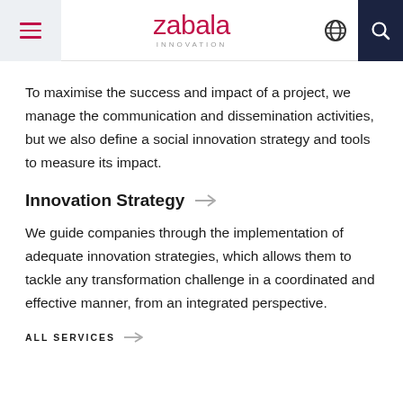zabala INNOVATION [menu, globe, search icons]
To maximise the success and impact of a project, we manage the communication and dissemination activities, but we also define a social innovation strategy and tools to measure its impact.
Innovation Strategy →
We guide companies through the implementation of adequate innovation strategies, which allows them to tackle any transformation challenge in a coordinated and effective manner, from an integrated perspective.
ALL SERVICES →